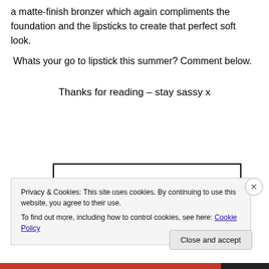a matte-finish bronzer which again compliments the foundation and the lipsticks to create that perfect soft look.
Whats your go to lipstick this summer? Comment below.
Thanks for reading – stay sassy x
[Figure (logo): KIRANALIY logo in bold uppercase letters inside a black border rectangle]
Privacy & Cookies: This site uses cookies. By continuing to use this website, you agree to their use.
To find out more, including how to control cookies, see here: Cookie Policy